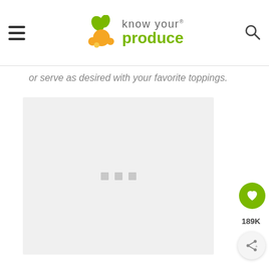Know Your Produce
or serve as desired with your favorite toppings.
[Figure (photo): Loading image placeholder (light gray box with three small square dots in the center)]
189K